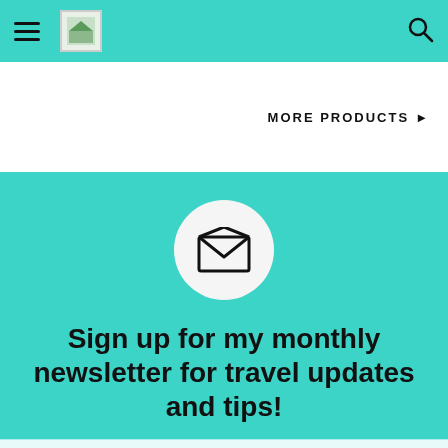≡ [logo] [search icon]
MORE PRODUCTS ▶
[Figure (illustration): Open envelope icon inside a white circle on a teal background]
Sign up for my monthly newsletter for travel updates and tips!